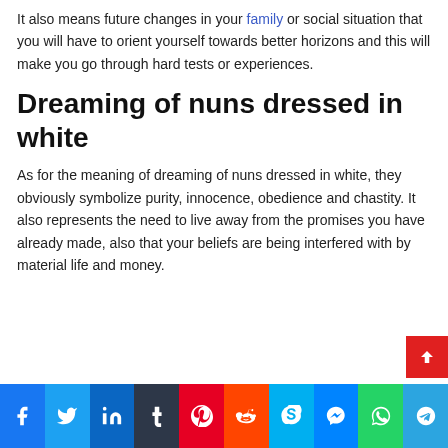It also means future changes in your family or social situation that you will have to orient yourself towards better horizons and this will make you go through hard tests or experiences.
Dreaming of nuns dressed in white
As for the meaning of dreaming of nuns dressed in white, they obviously symbolize purity, innocence, obedience and chastity. It also represents the need to live away from the promises you have already made, also that your beliefs are being interfered with by material life and money.